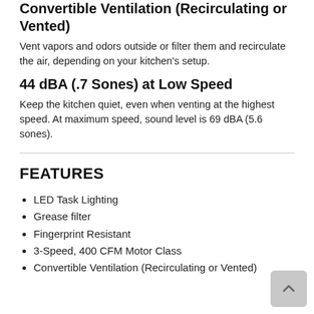Convertible Ventilation (Recirculating or Vented)
Vent vapors and odors outside or filter them and recirculate the air, depending on your kitchen's setup.
44 dBA (.7 Sones) at Low Speed
Keep the kitchen quiet, even when venting at the highest speed. At maximum speed, sound level is 69 dBA (5.6 sones).
FEATURES
LED Task Lighting
Grease filter
Fingerprint Resistant
3-Speed, 400 CFM Motor Class
Convertible Ventilation (Recirculating or Vented)